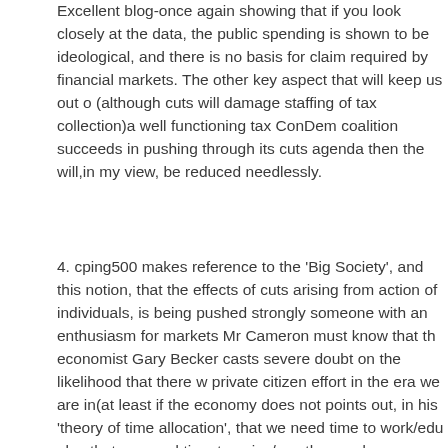Excellent blog-once again showing that if you look closely at the data, the public spending is shown to be ideological, and there is no basis for claim required by financial markets. The other key aspect that will keep us out of (although cuts will damage staffing of tax collection)a well functioning tax ConDem coalition succeeds in pushing through its cuts agenda then the will,in my view, be reduced needlessly.
4. cping500 makes reference to the 'Big Society', and this notion, that the effects of cuts arising from action of individuals, is being pushed strongly someone with an enthusiasm for markets Mr Cameron must know that the economist Gary Becker casts severe doubt on the likelihood that there w private citizen effort in the era we are in(at least if the economy does not points out, in his 'theory of time allocation', that we need time to work/edu also that we need time to enjoy/use the goods we can afford with our inco we can afford a larger basket of goods we need more time to enjoy them mitigation by choosing activities that are expensive but require less time transport, takeaway meals etc) but we are basically stuck with twenty fou incomes rise the value of time goes up, ever greater consumption opport time. This can be used to explain a whole variety of changes in our socie attendance, decline in attendance at political meetings, the choice of a sn particularly young children are time consuming and mother's wages have just too high to most of the population for them to take on new, time cons may be that Cameron will get support from the bored elderly with copious believe they are the most self-centred and selfish section in the society (h